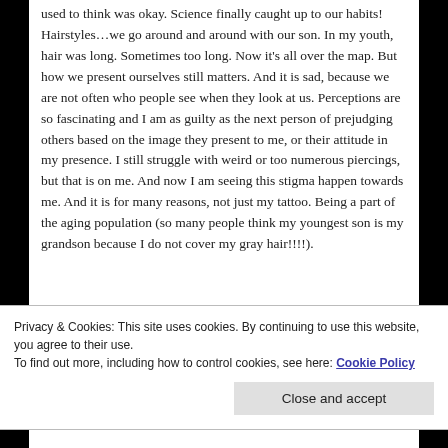used to think was okay. Science finally caught up to our habits! Hairstyles…we go around and around with our son. In my youth, hair was long. Sometimes too long. Now it's all over the map. But how we present ourselves still matters. And it is sad, because we are not often who people see when they look at us. Perceptions are so fascinating and I am as guilty as the next person of prejudging others based on the image they present to me, or their attitude in my presence. I still struggle with weird or too numerous piercings, but that is on me. And now I am seeing this stigma happen towards me. And it is for many reasons, not just my tattoo. Being a part of the aging population (so many people think my youngest son is my grandson because I do not cover my gray hair!!!!).
Privacy & Cookies: This site uses cookies. By continuing to use this website, you agree to their use.
To find out more, including how to control cookies, see here: Cookie Policy
Close and accept